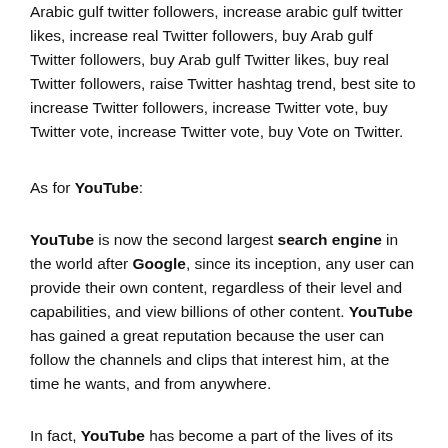Arabic gulf twitter followers, increase arabic gulf twitter likes, increase real Twitter followers, buy Arab gulf Twitter followers, buy Arab gulf Twitter likes, buy real Twitter followers, raise Twitter hashtag trend, best site to increase Twitter followers, increase Twitter vote, buy Twitter vote, increase Twitter vote, buy Vote on Twitter.
As for YouTube:
YouTube is now the second largest search engine in the world after Google, since its inception, any user can provide their own content, regardless of their level and capabilities, and view billions of other content. YouTube has gained a great reputation because the user can follow the channels and clips that interest him, at the time he wants, and from anywhere.
In fact, YouTube has become a part of the lives of its